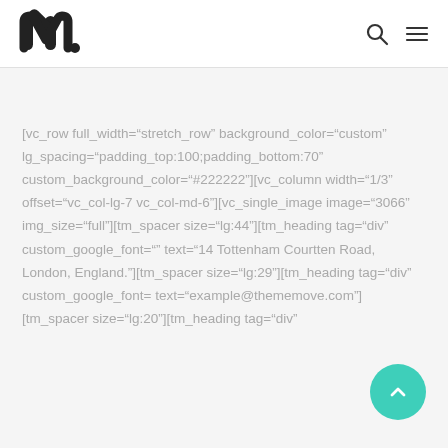Makеmove logo, search icon, menu icon
[vc_row full_width="stretch_row" background_color="custom" lg_spacing="padding_top:100;padding_bottom:70" custom_background_color="#222222"][vc_column width="1/3" offset="vc_col-lg-7 vc_col-md-6"][vc_single_image image="3066" img_size="full"][tm_spacer size="lg:44"][tm_heading tag="div" custom_google_font="" text="14 Tottenham Courtten Road,
London, England."][tm_spacer size="lg:29"][tm_heading tag="div" custom_google_font= text="example@thememove.com"][tm_spacer size="lg:20"][tm_heading tag="div"